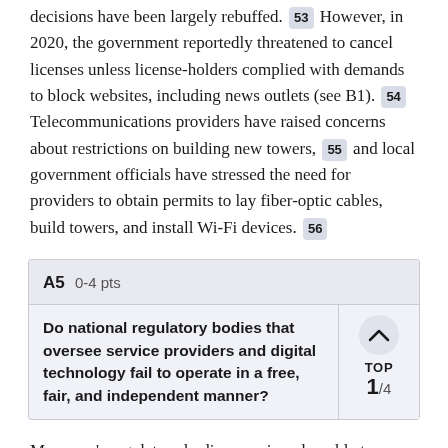decisions have been largely rebuffed. 53 However, in 2020, the government reportedly threatened to cancel licenses unless license-holders complied with demands to block websites, including news outlets (see B1). 54 Telecommunications providers have raised concerns about restrictions on building new towers, 55 and local government officials have stressed the need for providers to obtain permits to lay fiber-optic cables, build towers, and install Wi-Fi devices. 56
| A5  0-4 pts |  |
| --- | --- |
| Do national regulatory bodies that oversee service providers and digital technology fail to operate in a free, fair, and independent manner? | TOP 1/4 |
Myanmar's regulatory bodies remain vulnerable to political